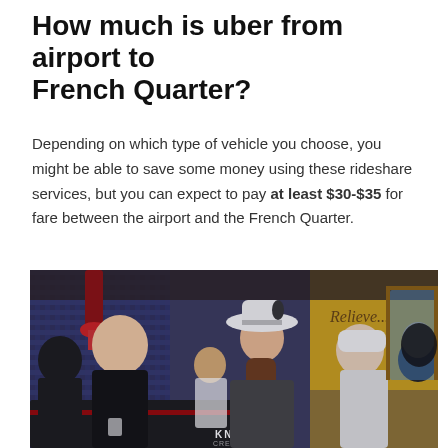How much is uber from airport to French Quarter?
Depending on which type of vehicle you choose, you might be able to save some money using these rideshare services, but you can expect to pay at least $30-$35 for fare between the airport and the French Quarter.
[Figure (photo): Crowded bar/restaurant scene in the French Quarter with people socializing, a man wearing a white hat center frame, neon signs and colorful decor visible including a 'Believe' sign, warm indoor lighting]